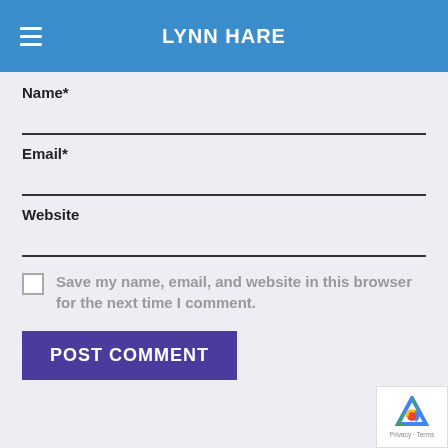LYNN HARE
Name*
Email*
Website
Save my name, email, and website in this browser for the next time I comment.
POST COMMENT